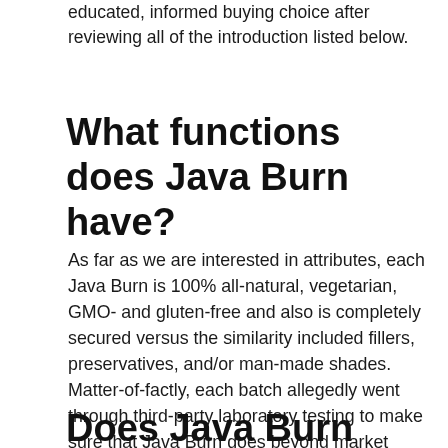educated, informed buying choice after reviewing all of the introduction listed below.
What functions does Java Burn have?
As far as we are interested in attributes, each Java Burn is 100% all-natural, vegetarian, GMO- and gluten-free and also is completely secured versus the similarity included fillers, preservatives, and/or man-made shades. Matter-of-factly, each batch allegedly went through third-party laboratory testing to make sure that Java Burn goes beyond market criteria.
Does Java Burn include